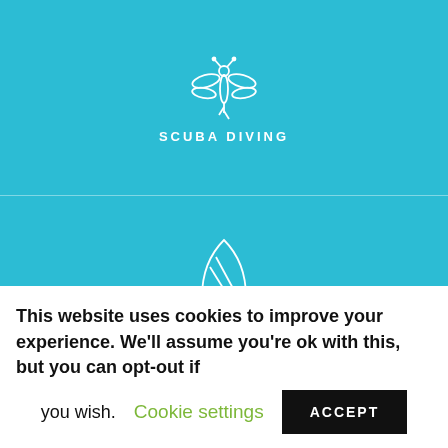[Figure (illustration): White outline icon of a scuba diver/dragonfly on teal background with label SCUBA DIVING]
SCUBA DIVING
[Figure (illustration): White outline icon of a surfboard on teal background with label SURFING]
SURFING
[Figure (illustration): White outline icon of a kayak/raft with paddle on teal background]
This website uses cookies to improve your experience. We'll assume you're ok with this, but you can opt-out if you wish.
Cookie settings
ACCEPT